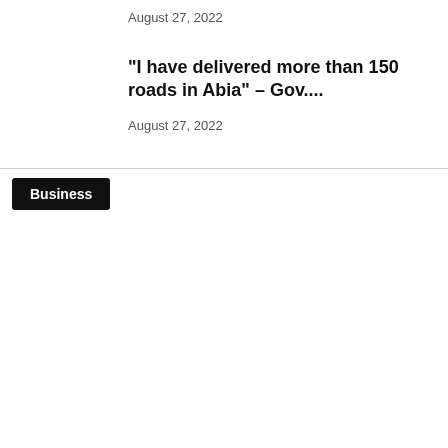August 27, 2022
“I have delivered more than 150 roads in Abia” – Gov....
August 27, 2022
Business